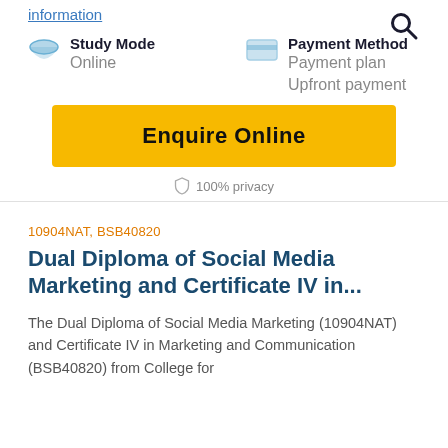information
Study Mode
Online
Payment Method
Payment plan
Upfront payment
Enquire Online
100% privacy
10904NAT, BSB40820
Dual Diploma of Social Media Marketing and Certificate IV in...
The Dual Diploma of Social Media Marketing (10904NAT) and Certificate IV in Marketing and Communication (BSB40820) from College for